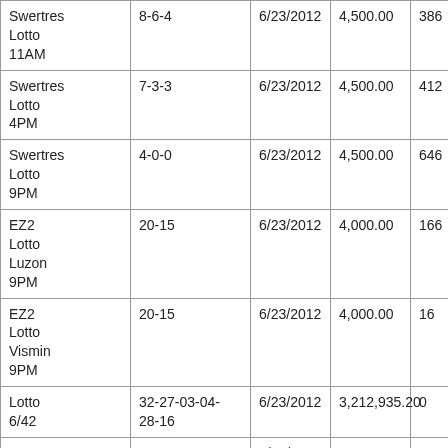| Swertres Lotto 11AM | 8-6-4 | 6/23/2012 | 4,500.00 | 386 |
| Swertres Lotto 4PM | 7-3-3 | 6/23/2012 | 4,500.00 | 412 |
| Swertres Lotto 9PM | 4-0-0 | 6/23/2012 | 4,500.00 | 646 |
| EZ2 Lotto Luzon 9PM | 20-15 | 6/23/2012 | 4,000.00 | 166 |
| EZ2 Lotto Vismin 9PM | 20-15 | 6/23/2012 | 4,000.00 | 16 |
| Lotto 6/42 | 32-27-03-04-28-16 | 6/23/2012 | 3,212,935.20 | 0 |
| EZ2 Lotto 11AM | 26-19 | 6/23/2012 | 4,000.00 | 48 |